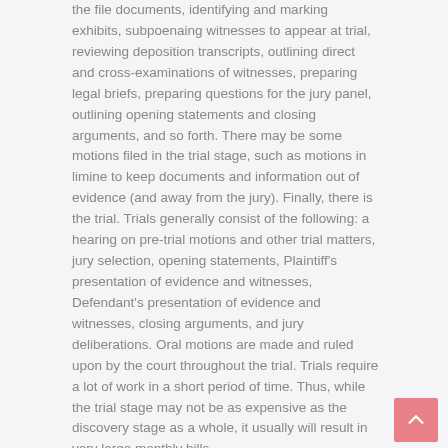the file documents, identifying and marking exhibits, subpoenaing witnesses to appear at trial, reviewing deposition transcripts, outlining direct and cross-examinations of witnesses, preparing legal briefs, preparing questions for the jury panel, outlining opening statements and closing arguments, and so forth. There may be some motions filed in the trial stage, such as motions in limine to keep documents and information out of evidence (and away from the jury). Finally, there is the trial. Trials generally consist of the following: a hearing on pre-trial motions and other trial matters, jury selection, opening statements, Plaintiff's presentation of evidence and witnesses, Defendant's presentation of evidence and witnesses, closing arguments, and jury deliberations. Oral motions are made and ruled upon by the court throughout the trial. Trials require a lot of work in a short period of time. Thus, while the trial stage may not be as expensive as the discovery stage as a whole, it usually will result in very large monthly bills.
Settlement Negotiations
The overwhelming majority of civil cases settle.